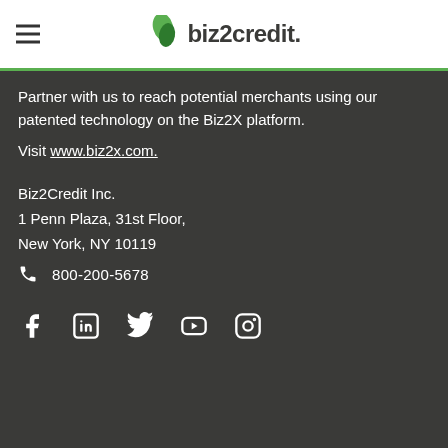biz2credit
Partner with us to reach potential merchants using our patented technology on the Biz2X platform.
Visit www.biz2x.com.
Biz2Credit Inc.
1 Penn Plaza, 31st Floor,
New York, NY 10119
📞 800-200-5678
[Figure (other): Social media icons: Facebook, LinkedIn, Twitter, YouTube, Instagram]